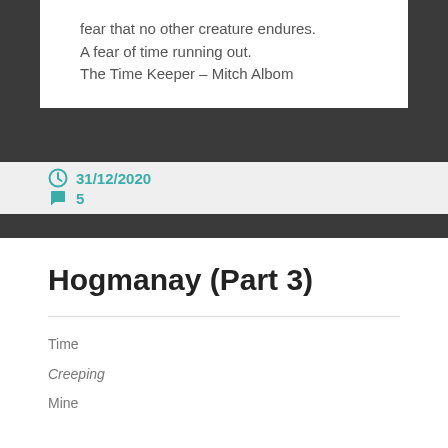fear that no other creature endures.
A fear of time running out.
The Time Keeper – Mitch Albom
31/12/2020   5
Hogmanay (Part 3)
Time
Creeping
Mine